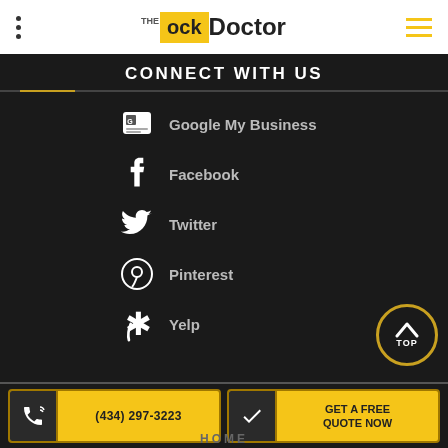THE Lock Doctor
CONNECT WITH US
Google My Business
Facebook
Twitter
Pinterest
Yelp
(434) 297-3223
GET A FREE QUOTE NOW
HOME